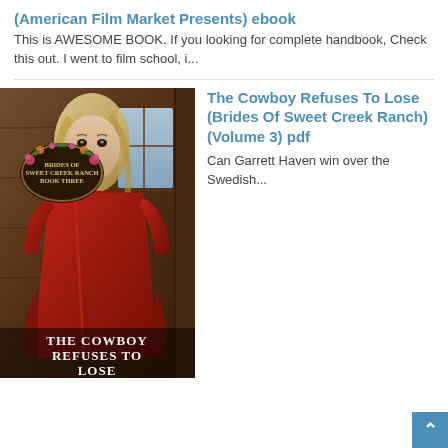(American Film Market Presents) ebook
This is AWESOME BOOK. If you looking for complete handbook, Check this out. I went to film school, i...
[Figure (photo): Book cover for 'The Cowboy Refuses To Lose' (Brides of Sweet Creek Ranch, Book Three). Shows a blonde woman in a red dress in a rustic wooden interior. An oval badge with flowers reads 'Brides of Sweet Creek Ranch Book Three'. Title text at the bottom reads 'THE COWBOY REFUSES TO LOSE'.]
The Cowboy Refuses To Lose (Brides Of Sweet Creek Ranch) (Volume 3) pdf
Can Garrett Haven win over the Swedish...